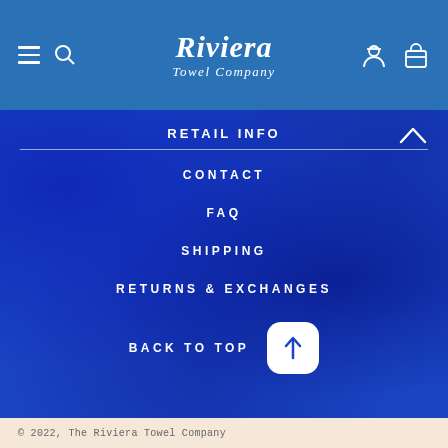Riviera Towel Company
RETAIL INFO
CONTACT
FAQ
SHIPPING
RETURNS & EXCHANGES
BACK TO TOP
© 2022, The Riviera Towel Company